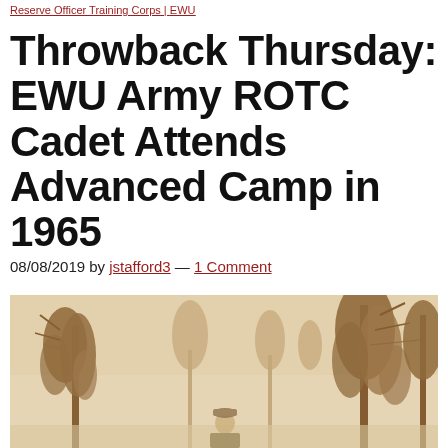Reserve Officer Training Corps | EWU
Throwback Thursday: EWU Army ROTC Cadet Attends Advanced Camp in 1965
08/08/2019 by jstafford3 — 1 Comment
[Figure (photo): Vintage sepia-toned photograph of a cadet among tall coniferous trees, taken at Advanced Camp in 1965]